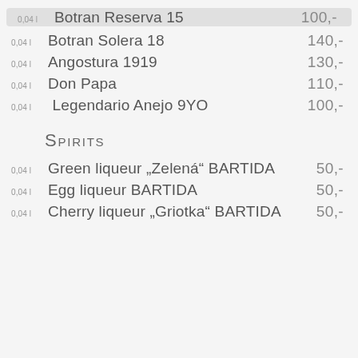0,04 l  Botran Reserva 15  100,-
0,04 l  Botran Solera 18  140,-
0,04 l  Angostura 1919  130,-
0,04 l  Don Papa  110,-
0,04 l  Legendario Anejo 9YO  100,-
Spirits
0,04 l  Green liqueur „Zelenä“ BARTIDA  50,-
0,04 l  Egg liqueur BARTIDA  50,-
0,04 l  Cherry liqueur „Griotka“ BARTIDA  50,-